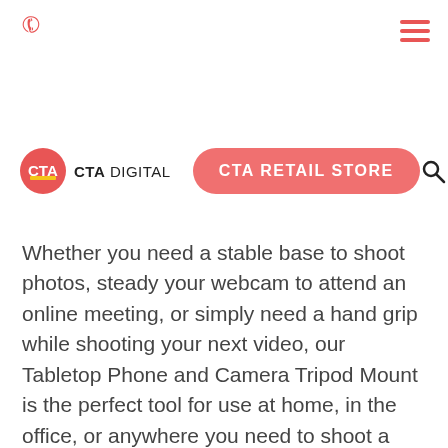Phone icon and hamburger menu navigation bar
[Figure (logo): CTA Digital logo with red circle containing CTA letters and text CTA DIGITAL beside it, with a red pill-shaped CTA RETAIL STORE button, search icon, and cart icon with 0 count]
Whether you need a stable base to shoot photos, steady your webcam to attend an online meeting, or simply need a hand grip while shooting your next video, our Tabletop Phone and Camera Tripod Mount is the perfect tool for use at home, in the office, or anywhere you need to shoot a photo or video. A rugged omni-tilting ball joint easily adjusts to any